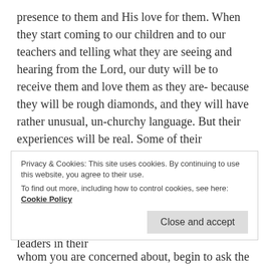presence to them and His love for them. When they start coming to our children and to our teachers and telling what they are seeing and hearing from the Lord, our duty will be to receive them and love them as they are- because they will be rough diamonds, and they will have rather unusual, un-churchy language. But their experiences will be real. Some of their experiences will be so unusual you may doubt them. At that point receive their testimonies at face value, give them the word of God, and teach them how to love: because these children will have ministries not only as children, but as leaders in their
Privacy & Cookies: This site uses cookies. By continuing to use this website, you agree to their use.
To find out more, including how to control cookies, see here: Cookie Policy
whom you are concerned about, begin to ask the